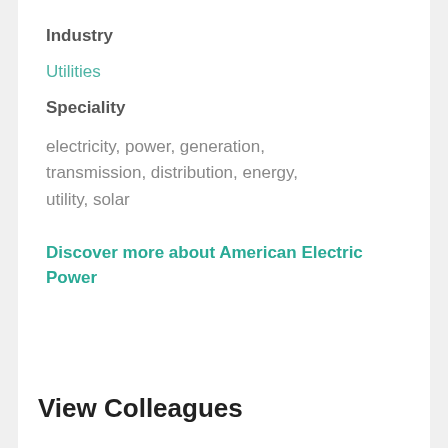Industry
Utilities
Speciality
electricity, power, generation, transmission, distribution, energy, utility, solar
Discover more about American Electric Power
View Colleagues